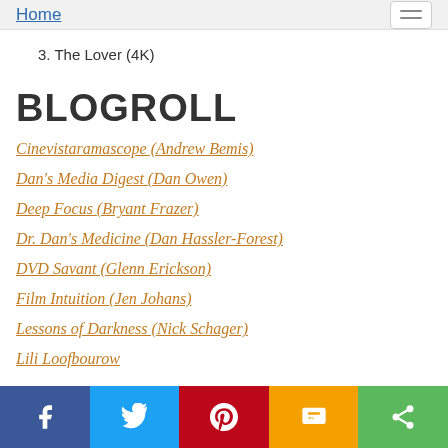Home
3. The Lover (4K)
BLOGROLL
Cinevistaramascope (Andrew Bemis)
Dan's Media Digest (Dan Owen)
Deep Focus (Bryant Frazer)
Dr. Dan's Medicine (Dan Hassler-Forest)
DVD Savant (Glenn Erickson)
Film Intuition (Jen Johans)
Lessons of Darkness (Nick Schager)
Lili Loofbourow
Share bar: Facebook, Twitter, Pinterest, SMS, Share